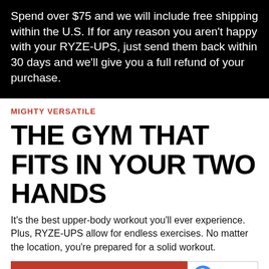Spend over $75 and we will include free shipping within the U.S. If for any reason you aren't happy with your RYZE-UPS, just send them back within 30 days and we'll give you a full refund of your purchase.
MIGHTY VERSATILE
THE GYM THAT FITS IN YOUR TWO HANDS
It's the best upper-body workout you'll ever experience. Plus, RYZE-UPS allow for endless exercises. No matter the location, you're prepared for a solid workout.
GET YOURS ON AMAZON